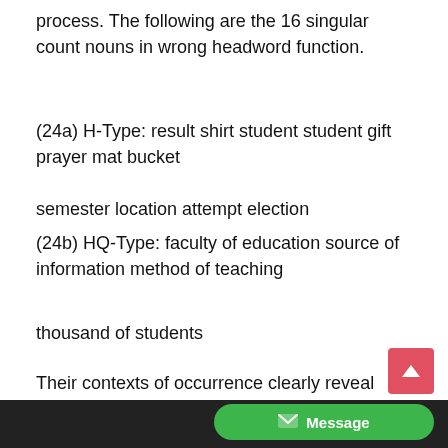process. The following are the 16 singular count nouns in wrong headword function.
(24a) H-Type: result shirt student student gift prayer mat bucket semester location attempt election
(24b) HQ-Type: faculty of education source of information method of teaching
thousand of students
Their contexts of occurrence clearly reveal evidence of poor knowledge and inconsistency in application of rules. Take (24c)-(24e), for example, where, in the same sentence, plural is rightly marked in some nouns (bold) but unmarked in others (italics)